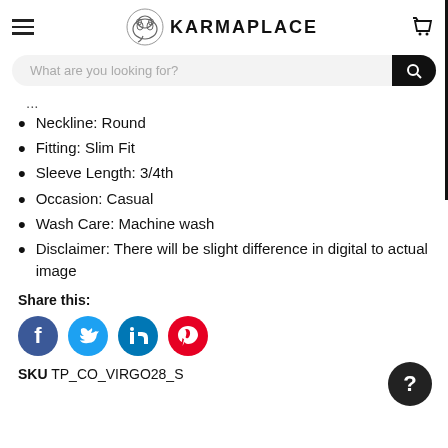KARMAPLACE
Neckline: Round
Fitting: Slim Fit
Sleeve Length: 3/4th
Occasion: Casual
Wash Care: Machine wash
Disclaimer: There will be slight difference in digital to actual image
Share this:
[Figure (other): Social media share icons: Facebook, Twitter, LinkedIn, Pinterest]
SKU TP_CO_VIRGO28_S